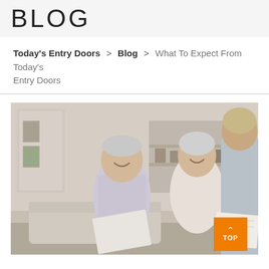BLOG
Today's Entry Doors > Blog > What To Expect From Today's Entry Doors
[Figure (photo): An elderly couple sitting on a sofa smiling, reviewing papers with a consultant or salesperson whose back is to the camera. Indoor home setting with shelves and framed pictures in the background.]